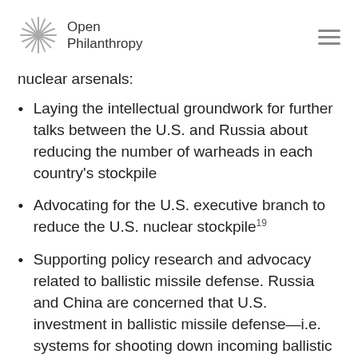Open Philanthropy
nuclear arsenals:
Laying the intellectual groundwork for further talks between the U.S. and Russia about reducing the number of warheads in each country's stockpile
Advocating for the U.S. executive branch to reduce the U.S. nuclear stockpile19
Supporting policy research and advocacy related to ballistic missile defense. Russia and China are concerned that U.S. investment in ballistic missile defense—i.e. systems for shooting down incoming ballistic missiles—could destabilize deterrence relationships. If ballistic missile defense were sufficiently